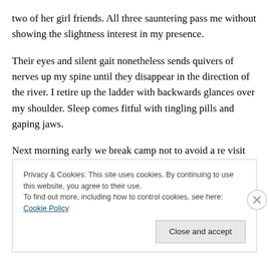two of her girl friends. All three sauntering pass me without showing the slightness interest in my presence.
Their eyes and silent gait nonetheless sends quivers of nerves up my spine until they disappear in the direction of the river. I retire up the ladder with backwards glances over my shoulder. Sleep comes fitful with tingling pills and gaping jaws.
Next morning early we break camp not to avoid a re visit from our lions but to avoid our less than pleasant game
Privacy & Cookies: This site uses cookies. By continuing to use this website, you agree to their use.
To find out more, including how to control cookies, see here: Cookie Policy